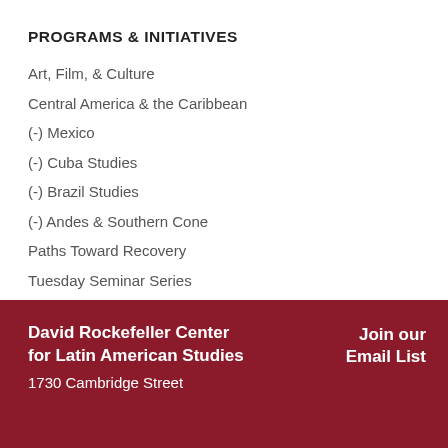PROGRAMS & INITIATIVES
Art, Film, & Culture
Central America & the Caribbean
(-) Mexico
(-) Cuba Studies
(-) Brazil Studies
(-) Andes & Southern Cone
Paths Toward Recovery
Tuesday Seminar Series
David Rockefeller Center for Latin American Studies
1730 Cambridge Street
Join our Email List